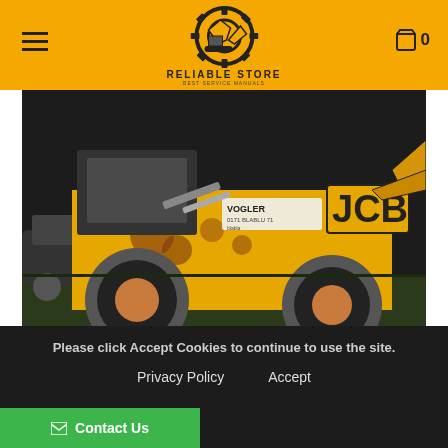Reliable Store - Best Service Manuals
[Figure (photo): Yellow JCB construction vehicle/backhoe loader photographed at night on grass, showing worn and rusted body panels with VOGLER text visible and JCB logo on side.]
Best Manuals
Please click Accept Cookies to continue to use the site.
Privacy Policy    Accept
Contact Us